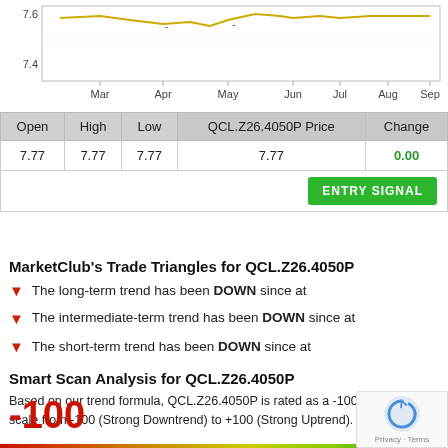[Figure (line-chart): Line chart showing price around 7.4-7.6 range from Mar to Sep]
| Open | High | Low | QCL.Z26.4050P Price | Change |
| --- | --- | --- | --- | --- |
| 7.77 | 7.77 | 7.77 | 7.77 | 0.00 |
MarketClub's Trade Triangles for QCL.Z26.4050P
The long-term trend has been DOWN since at
The intermediate-term trend has been DOWN since at
The short-term trend has been DOWN since at
Smart Scan Analysis for QCL.Z26.4050P
Based on our trend formula, QCL.Z26.4050P is rated as a -100 on a scale from -100 (Strong Downtrend) to +100 (Strong Uptrend).
-100
[Figure (infographic): Gradient bar from red to green representing score scale -100 to +100]